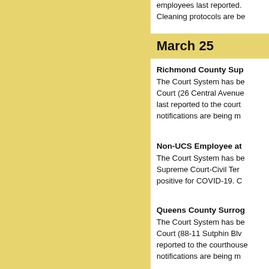employees last reported. Cleaning protocols are be
March 25
Richmond County Sup
The Court System has be Court (26 Central Avenue last reported to the court notifications are being m
Non-UCS Employee at 
The Court System has be Supreme Court-Civil Ter positive for COVID-19. C
Queens County Surrog
The Court System has be Court (88-11 Sutphin Blv reported to the courthouse notifications are being m